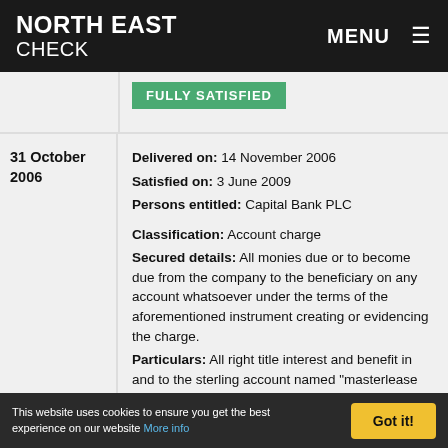NORTH EAST CHECK | MENU
FULLY SATISFIED
| Date | Details |
| --- | --- |
| 31 October 2006 | Delivered on: 14 November 2006
Satisfied on: 3 June 2009
Persons entitled: Capital Bank PLC

Classification: Account charge
Secured details: All monies due or to become due from the company to the beneficiary on any account whatsoever under the terms of the aforementioned instrument creating or evidencing the charge.
Particulars: All right title interest and benefit in and to the sterling account named "masterlease limited-security account" and any sub-account in the |
This website uses cookies to ensure you get the best experience on our website More info | Got it!